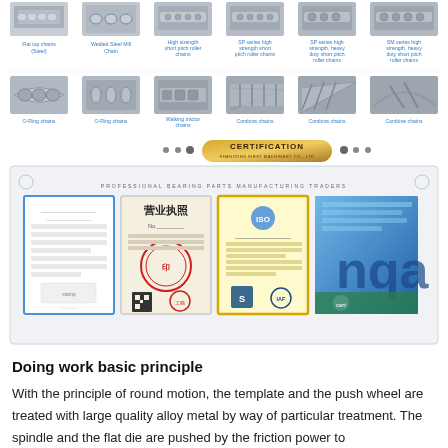[Figure (photo): Two rows of industrial chain product images with labels. Top row: Flat top chains (Steel), Welded Steel Mill Chain, High strength short pitch roller chains, SP series high strength short pitch roller chains, SP series high strength heavy duty short pitch roller chains, SM series high strength heavy duty short pitch roller chains. Bottom row: O-Ring chains, O-Ring chains, Walking tractor chains, Combine chains, Combine chains, Combine chains.]
[Figure (photo): Certification section banner with decorative dots and gold-colored CERTIFICATION title badge, and frame showing: PROFESSIONAL BEARING PARTS MANUFACTURING TRADERS text, with four certification documents displayed: a white document with blue border, a 营业执照 (Business License) with red stamp, a yellow ISO certificate, and a blue NQA certificate.]
Doing work basic principle
With the principle of round motion, the template and the push wheel are treated with large quality alloy metal by way of particular treatment. The spindle and the flat die are pushed by the friction power to